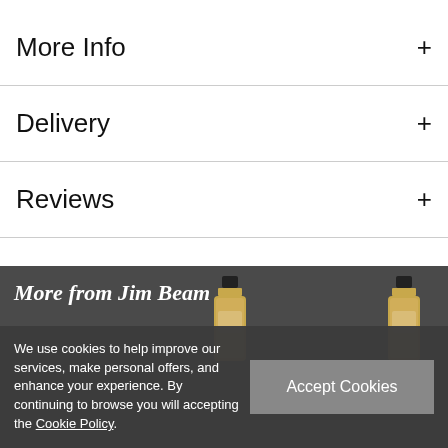More Info +
Delivery +
Reviews +
More from Jim Beam
We use cookies to help improve our services, make personal offers, and enhance your experience. By continuing to browse you will accepting the Cookie Policy.
Accept Cookies
[Figure (photo): Two Jim Beam bourbon whiskey bottles partially visible at bottom of dark footer section]